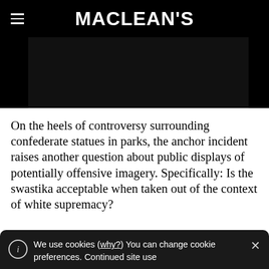MACLEAN'S
[Figure (photo): Dark/black hero image area]
On the heels of controversy surrounding confederate statues in parks, the anchor incident raises another question about public displays of potentially offensive imagery. Specifically: Is the swastika acceptable when taken out of the context of white supremacy?
We use cookies (why?) You can change cookie preferences. Continued site use